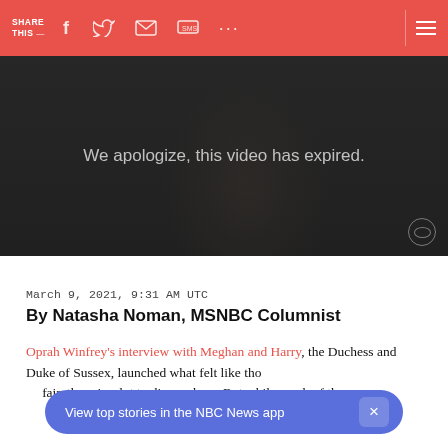SHARE THIS — [facebook] [twitter] [email] [sms] [...] [menu]
[Figure (screenshot): Video player showing expired video with dark background and text 'We apologize, this video has expired.' with CBS watermark in bottom right corner.]
March 9, 2021, 9:31 AM UTC
By Natasha Noman, MSNBC Columnist
Oprah Winfrey's interview with Meghan and Harry, the Duchess and Duke of Sussex, launched what felt like thousands of conversations. To be fair, there is a lot to discuss here. But while much of the
View top stories in the NBC News app ×